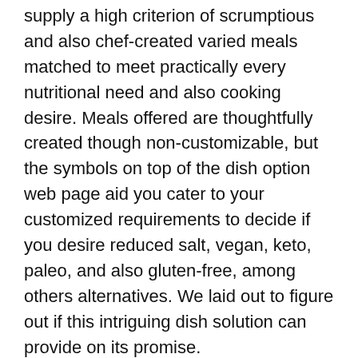supply a high criterion of scrumptious and also chef-created varied meals matched to meet practically every nutritional need and also cooking desire. Meals offered are thoughtfully created though non-customizable, but the symbols on top of the dish option web page aid you cater to your customized requirements to decide if you desire reduced salt, vegan, keto, paleo, and also gluten-free, among others alternatives. We laid out to figure out if this intriguing dish solution can provide on its promise.
What is CookUnity?
CookUnity was established in 2015 by Mateo Marietti, who thought of the idea after ending up being annoyed with the lack of